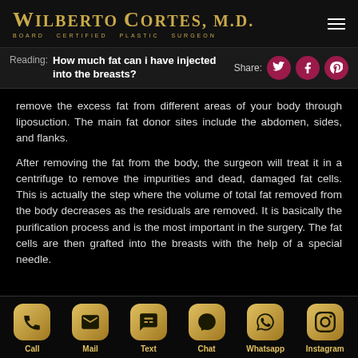WILBERTO CORTES, M.D. BOARD CERTIFIED PLASTIC SURGEON
Reading: How much fat can i have injected into the breasts?
remove the excess fat from different areas of your body through liposuction. The main fat donor sites include the abdomen, sides, and flanks.
After removing the fat from the body, the surgeon will treat it in a centrifuge to remove the impurities and dead, damaged fat cells. This is actually the step where the volume of total fat removed from the body decreases as the residuals are removed. It is basically the purification process and is the most important in the surgery. The fat cells are then grafted into the breasts with the help of a special needle.
It is important to note here that only a limited volume of fat can
Call  Mail  Text  Chat  Whatsapp  Instagram